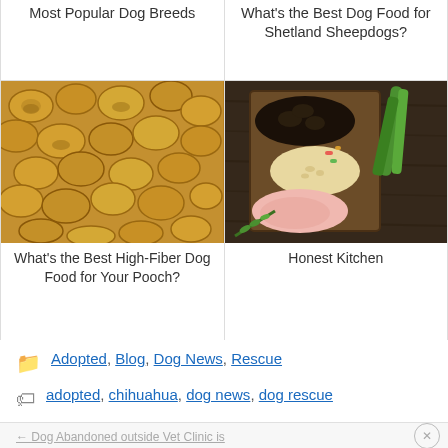[Figure (photo): Two-column grid of article cards. Top row (partially visible): left cell shows title 'Most Popular Dog Breeds', right cell shows title 'What's the Best Dog Food for Shetland Sheepdogs?'. Bottom row: left cell shows a photo of golden/tan dry dog food kibble pieces and title 'What's the Best High-Fiber Dog Food for Your Pooch?'; right cell shows a photo of a wooden box with kibble, grains, vegetables, and meat with title 'Honest Kitchen'.]
Adopted, Blog, Dog News, Rescue
adopted, chihuahua, dog news, dog rescue
Dog Abandoned outside Vet Clinic is